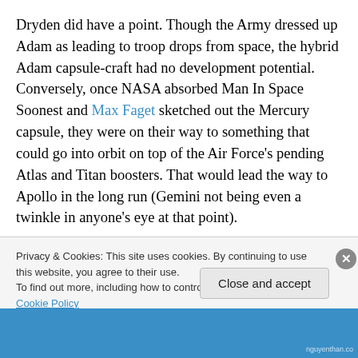Dryden did have a point. Though the Army dressed up Adam as leading to troop drops from space, the hybrid Adam capsule-craft had no development potential. Conversely, once NASA absorbed Man In Space Soonest and Max Faget sketched out the Mercury capsule, they were on their way to something that could go into orbit on top of the Air Force's pending Atlas and Titan boosters. That would lead the way to Apollo in the long run (Gemini not being even a twinkle in anyone's eye at that point).
Privacy & Cookies: This site uses cookies. By continuing to use this website, you agree to their use.
To find out more, including how to control cookies, see here: Cookie Policy